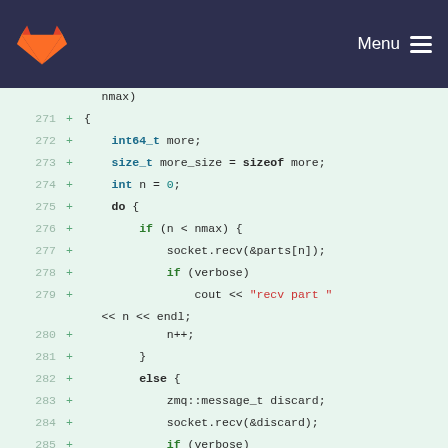GitLab — Menu
[Figure (screenshot): Code diff view showing lines 271-287 of a C++ source file with added lines (marked with +) on a light green background. Code shows a function body with int64_t, size_t declarations, a do-while loop structure with if/else branches, socket.recv calls, and cout statements with red string literals 'recv part '.]